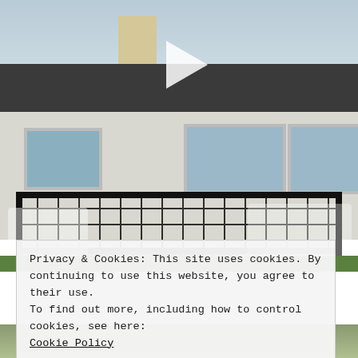[Figure (photo): Outdoor photo of a single-story house with gray/white siding and dark roof. A black metal grid railing encloses a deck area. White patio furniture and chairs are visible on the deck and patio area. A play button overlay is centered on the image, indicating a video.]
Privacy & Cookies: This site uses cookies. By continuing to use this website, you agree to their use.
To find out more, including how to control cookies, see here:
Cookie Policy
Close and accept
[Figure (photo): Bottom strip showing partial view of outdoor furniture on grass, largely obscured.]